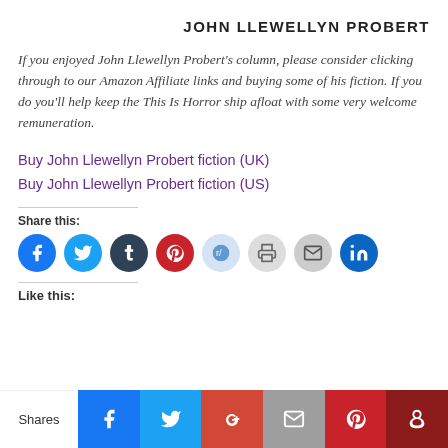JOHN LLEWELLYN PROBERT
If you enjoyed John Llewellyn Probert's column, please consider clicking through to our Amazon Affiliate links and buying some of his fiction. If you do you'll help keep the This Is Horror ship afloat with some very welcome remuneration.
Buy John Llewellyn Probert fiction (UK)
Buy John Llewellyn Probert fiction (US)
Share this:
[Figure (infographic): Row of social sharing icon circles: Facebook (blue), Twitter (light blue), Tumblr (dark blue), Pinterest (red), Reddit (light blue), Print (grey), Email (grey), LinkedIn (blue)]
Like this:
[Figure (infographic): Bottom share bar with: Shares label, Facebook (blue), Twitter (light blue), Google+ (red), Email (grey), Pinterest (red), Crown/other (dark red)]